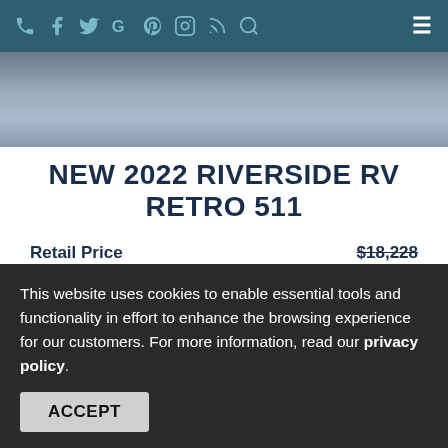Navigation bar with social/contact icons and hamburger menu
[Figure (photo): Partial photo of an RV hitch/trailer connection on snowy or rocky ground]
NEW 2022 RIVERSIDE RV RETRO 511
Retail Price  $18,228
Sales Price  $14,967
FAMILY OWNED DEALERSHIP
NO ADDITIONAL FEES!!
This website uses cookies to enable essential tools and functionality in effort to enhance the browsing experience for our customers. For more information, read our privacy policy.
ACCEPT